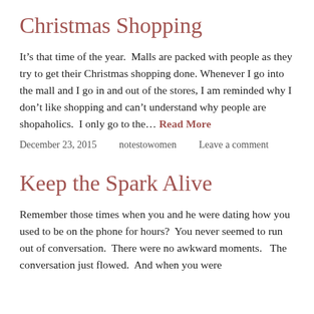Christmas Shopping
It’s that time of the year.  Malls are packed with people as they try to get their Christmas shopping done. Whenever I go into the mall and I go in and out of the stores, I am reminded why I don’t like shopping and can’t understand why people are shopaholics.  I only go to the… Read More
December 23, 2015    notestowomen    Leave a comment
Keep the Spark Alive
Remember those times when you and he were dating how you used to be on the phone for hours?  You never seemed to run out of conversation.  There were no awkward moments.   The conversation just flowed.  And when you were